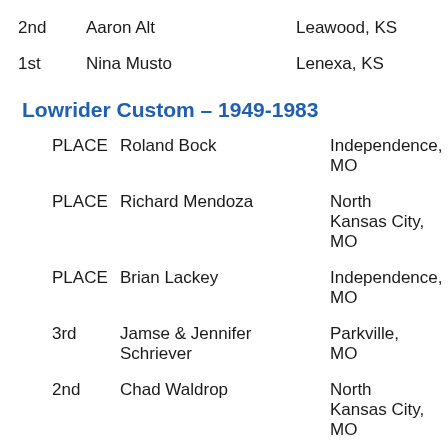2nd  Aaron Alt  Leawood, KS
1st  Nina Musto  Lenexa, KS
Lowrider Custom – 1949-1983
PLACE  Roland Bock  Independence, MO
PLACE  Richard Mendoza  North Kansas City, MO
PLACE  Brian Lackey  Independence, MO
3rd  Jamse & Jennifer Schriever  Parkville, MO
2nd  Chad Waldrop  North Kansas City, MO
1st  John Shatto  Peculiar, MO
Lowrider Custom – 1984-Current
PLACE  Mikal Hill  Kansas City, MO
PLACE  Josue Reyes  Olathe, KS
PLACE  Brandon Baker  Bonner Springs, KS